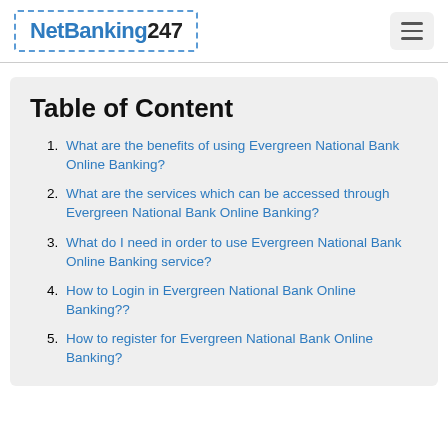NetBanking247
Table of Content
What are the benefits of using Evergreen National Bank Online Banking?
What are the services which can be accessed through Evergreen National Bank Online Banking?
What do I need in order to use Evergreen National Bank Online Banking service?
How to Login in Evergreen National Bank Online Banking??
How to register for Evergreen National Bank Online Banking?